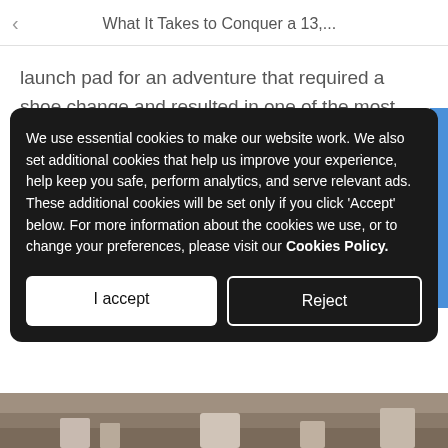What It Takes to Conquer a 13,...
launch pad for an adventure that required a shoe change and resulted in one of the most exotic, spectacular and challenging KOMs in the United States.
We use essential cookies to make our website work. We also set additional cookies that help us improve your experience, help keep you safe, perform analytics, and serve relevant ads. These additional cookies will be set only if you click 'Accept' below. For more information about the cookies we use, or to change your preferences, please visit our Cookies Policy.
[Figure (photo): Partial photo of a mountain/outdoor landscape visible behind the cookie consent dialog, with a blue strip on right side and rocky terrain at the bottom.]